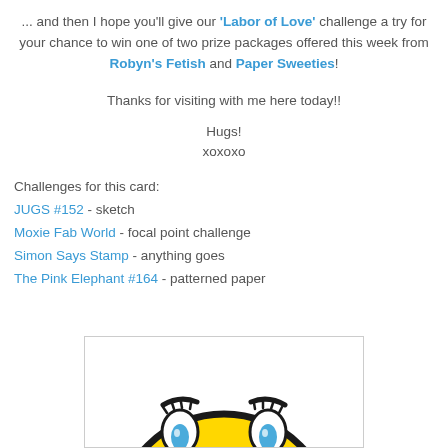... and then I hope you'll give our 'Labor of Love' challenge a try for your chance to win one of two prize packages offered this week from Robyn's Fetish and Paper Sweeties!
Thanks for visiting with me here today!!
Hugs!
xoxoxo
Challenges for this card:
JUGS #152 - sketch
Moxie Fab World - focal point challenge
Simon Says Stamp - anything goes
The Pink Elephant #164 - patterned paper
[Figure (illustration): Partial view of a smiley face emoji with yellow round face, black outline, and blue teardrop eyes visible at the bottom of the page]